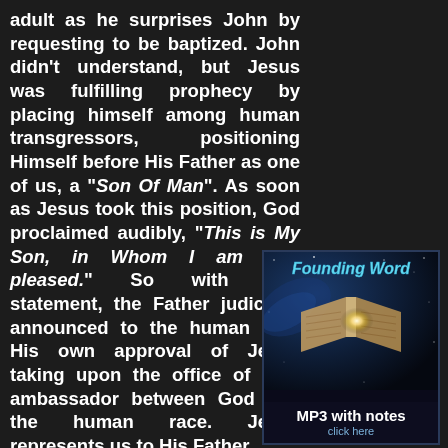adult as he surprises John by requesting to be baptized. John didn't understand, but Jesus was fulfilling prophecy by placing himself among human transgressors, positioning Himself before His Father as one of us, a "Son Of Man". As soon as Jesus took this position, God proclaimed audibly, "This is My Son, in Whom I am well pleased." So with that statement, the Father judicially announced to the human race His own approval of Jesus taking upon the office of dual ambassador between God and the human race. Jesus represents us to His Father
[Figure (other): Advertisement box with dark space background showing an open glowing book/Bible with stars. Title 'Founding Word' in italic cyan text at top. Below: 'MP3 with notes' in white bold, 'click here' in blue.]